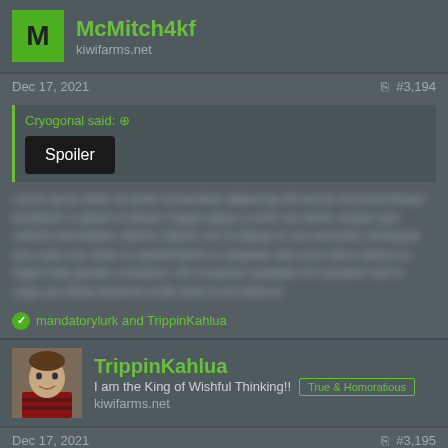McMitch4kf
kiwifarms.net
Dec 17, 2021   #3,194
Cryogonal said: [Spoiler]
[blurred text content]
mandatorylurk and TrippinKahlua
TrippinKahlua
I am the King of Wishful Thinking!!
kiwifarms.net
Dec 17, 2021   #3,195